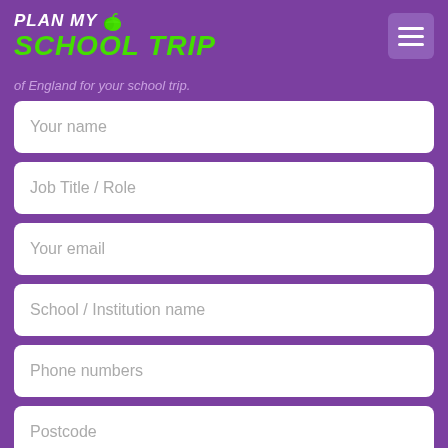[Figure (logo): Plan My School Trip logo with green apple icon on purple background]
of England for your school trip.
Your name
Job Title / Role
Your email
School / Institution name
Phone numbers
Postcode
Preferred date of your trip